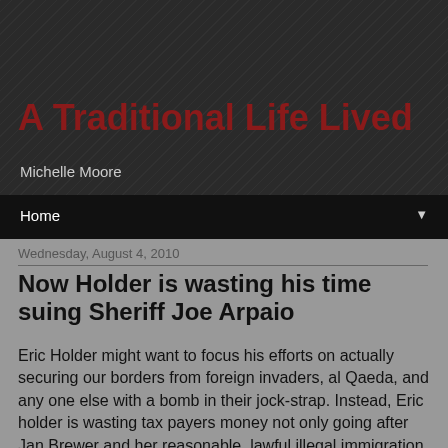A Traditional Life Lived
Michelle Moore
Home
Wednesday, August 4, 2010
Now Holder is wasting his time suing Sheriff Joe Arpaio
Eric Holder might want to focus his efforts on actually securing our borders from foreign invaders, al Qaeda, and any one else with a bomb in their jock-strap. Instead, Eric holder is wasting tax payers money not only going after Jan Brewer and her reasonable, lawful illegal immigration policy, but now he wants to attack Sheriff Arpaio for protecting the